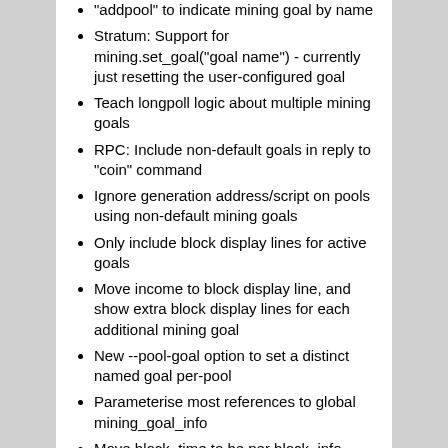"addpool" to indicate mining goal by name
Stratum: Support for mining.set_goal("goal name") - currently just resetting the user-configured goal
Teach longpoll logic about multiple mining goals
RPC: Include non-default goals in reply to "coin" command
Ignore generation address/script on pools using non-default mining goals
Only include block display lines for active goals
Move income to block display line, and show extra block display lines for each additional mining goal
New --pool-goal option to set a distinct named goal per-pool
Parameterise most references to global mining_goal_info
Move block_time to be per block_info
Show "?" for income if block height is unknown
Move block height tracking onto block_info
Calculate current_fullhash only when needed (for RPC 'coins')
Replace current_block_id with blkchain->currentblk[->block_id]